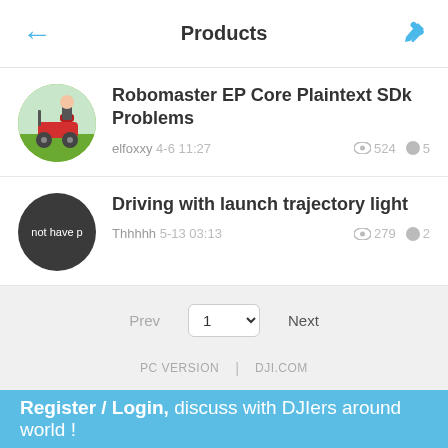Products
Robomaster EP Core Plaintext SDk Problems
elfoxxy 4-6 11:27 524 5
Driving with launch trajectory light
Thhhhh 5-13 03:13 279 2
Prev 1 Next
PC VERSION | DJI.COM
Register / Login, discuss with DJIers around world !